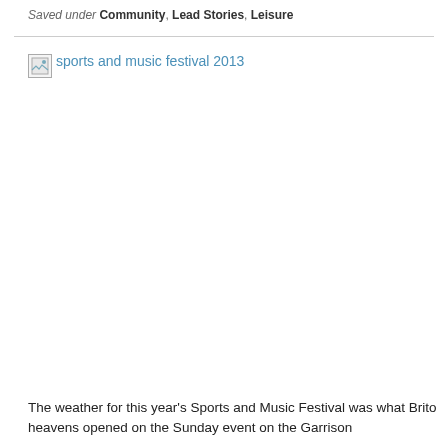Saved under Community, Lead Stories, Leisure
[Figure (photo): Broken image placeholder with alt text 'sports and music festival 2013']
The weather for this year's Sports and Music Festival was what Britons heavens opened on the Sunday event on the Garrison